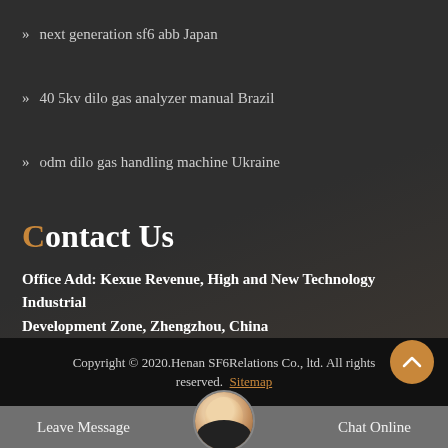next generation sf6 abb Japan
40 5kv dilo gas analyzer manual Brazil
odm dilo gas handling machine Ukraine
Contact Us
Office Add: Kexue Revenue, High and New Technology Industrial Development Zone, Zhengzhou, China
Copyright © 2020.Henan SF6Relations Co., ltd. All rights reserved. Sitemap
Leave Message
Chat Online